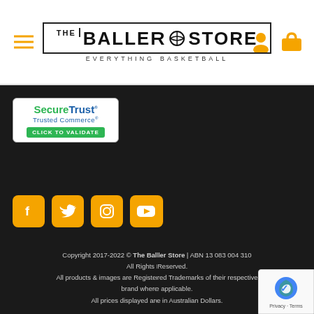[Figure (logo): The Baller Store logo with basketball icon and tagline EVERYTHING BASKETBALL]
[Figure (logo): SecureTrust Trusted Commerce Click to Validate badge]
[Figure (infographic): Social media icons: Facebook, Twitter, Instagram, YouTube — orange rounded square buttons]
Copyright 2017-2022 © The Baller Store | ABN 13 083 004 310 All Rights Reserved. All products & images are Registered Trademarks of their respective brand where applicable. All prices displayed are in Australian Dollars.